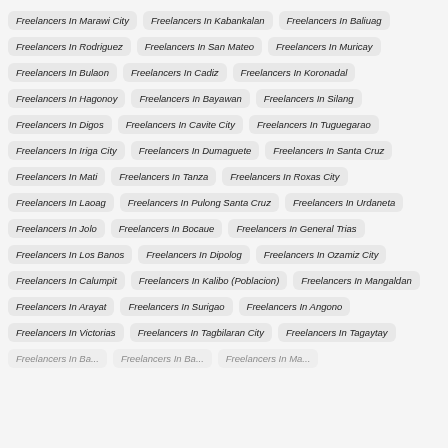Freelancers In Marawi City
Freelancers In Kabankalan
Freelancers In Baliuag
Freelancers In Rodriguez
Freelancers In San Mateo
Freelancers In Muricay
Freelancers In Bulaon
Freelancers In Cadiz
Freelancers In Koronadal
Freelancers In Hagonoy
Freelancers In Bayawan
Freelancers In Silang
Freelancers In Digos
Freelancers In Cavite City
Freelancers In Tuguegarao
Freelancers In Iriga City
Freelancers In Dumaguete
Freelancers In Santa Cruz
Freelancers In Mati
Freelancers In Tanza
Freelancers In Roxas City
Freelancers In Laoag
Freelancers In Pulong Santa Cruz
Freelancers In Urdaneta
Freelancers In Jolo
Freelancers In Bocaue
Freelancers In General Trias
Freelancers In Los Banos
Freelancers In Dipolog
Freelancers In Ozamiz City
Freelancers In Calumpit
Freelancers In Kalibo (Poblacion)
Freelancers In Mangaldan
Freelancers In Arayat
Freelancers In Surigao
Freelancers In Angono
Freelancers In Victorias
Freelancers In Tagbilaran City
Freelancers In Tagaytay